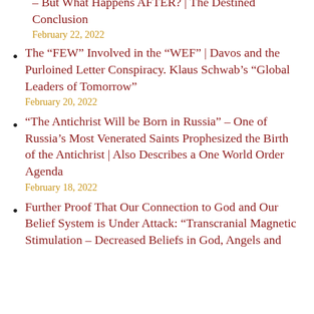You will Hear of Wars and Rumors of Wars – But What Happens AFTER? | The Destined Conclusion
February 22, 2022
The “FEW” Involved in the “WEF” | Davos and the Purloined Letter Conspiracy. Klaus Schwab’s “Global Leaders of Tomorrow”
February 20, 2022
“The Antichrist Will be Born in Russia” – One of Russia’s Most Venerated Saints Prophesized the Birth of the Antichrist | Also Describes a One World Order Agenda
February 18, 2022
Further Proof That Our Connection to God and Our Belief System is Under Attack: “Transcranial Magnetic Stimulation – Decreased Beliefs in God, Angels and